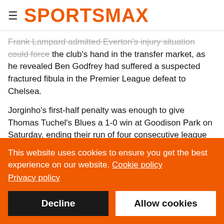SPORTSMAX
Frank Lampard admitted Everton's injury situation could force the club's hand in the transfer market, as he revealed Ben Godfrey had suffered a suspected fractured fibula in the Premier League defeat to Chelsea.
Jorginho's first-half penalty was enough to give Thomas Tuchel's Blues a 1-0 win at Goodison Park on Saturday, ending their run of four consecutive league defeats on the ground.
While Chelsea were indebted to Edouard Mendy for preserving their clean sheet with fine saves from James Tarkowski...
This website uses cookies to ensure you get the best experience on our website. Cookie policy
Privacy policy
Decline
Allow cookies